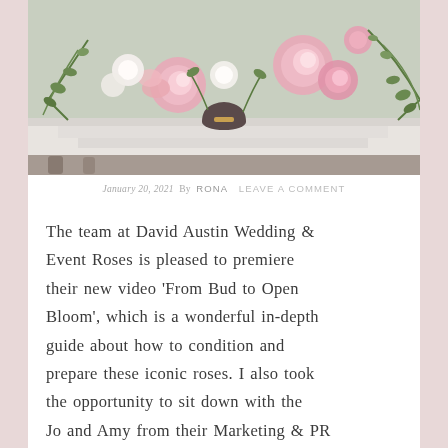[Figure (photo): Floral arrangement featuring pink roses, white flowers, and green trailing vines on a white mantelpiece or table, with a dark vase visible in the center.]
January 20, 2021 By RONA   LEAVE A COMMENT
The team at David Austin Wedding & Event Roses is pleased to premiere their new video 'From Bud to Open Bloom', which is a wonderful in-depth guide about how to condition and prepare these iconic roses. I also took the opportunity to sit down with the Jo and Amy from their Marketing & PR Team to learn more.